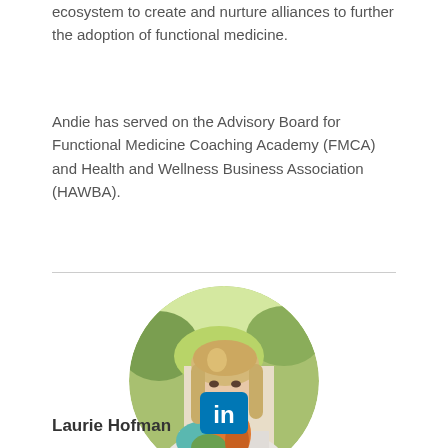ecosystem to create and nurture alliances to further the adoption of functional medicine.
Andie has served on the Advisory Board for Functional Medicine Coaching Academy (FMCA) and Health and Wellness Business Association (HAWBA).
[Figure (photo): Circular portrait photo of a woman with long blonde hair, wearing a colorful scarf, smiling, with a blurred outdoor background]
[Figure (logo): LinkedIn logo icon — white 'in' on blue rounded square background]
Laurie Hofman